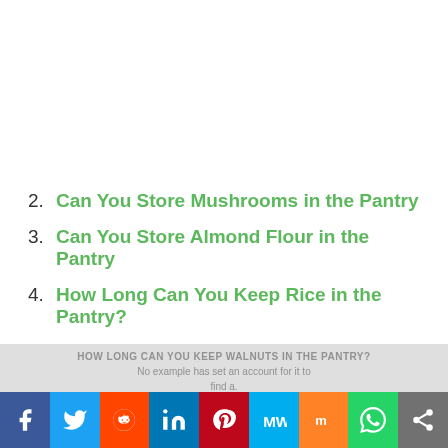2. Can You Store Mushrooms in the Pantry
3. Can You Store Almond Flour in the Pantry
4. How Long Can You Keep Rice in the Pantry?
HOW LONG CAN YOU KEEP WALNUTS IN THE PANTRY? No example has set an account for it to find a.
[Figure (other): Social media sharing bar with icons for Facebook, Twitter, Reddit, LinkedIn, Pinterest, MeWe, Mix, WhatsApp, and Share]